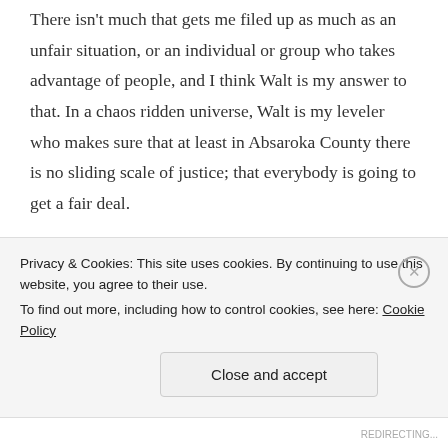There isn't much that gets me filed up as much as an unfair situation, or an individual or group who takes advantage of people, and I think Walt is my answer to that. In a chaos ridden universe, Walt is my leveler who makes sure that at least in Absaroka County there is no sliding scale of justice; that everybody is going to get a fair deal.

I think that's a lot of the reason people read the books, in hopes that there's light at the end of the tunnel. I put Walt in some pretty dire situations, and I don't back away from the violence and mayhem that's a part of his
Privacy & Cookies: This site uses cookies. By continuing to use this website, you agree to their use.
To find out more, including how to control cookies, see here: Cookie Policy
Close and accept
REDIRECTING...